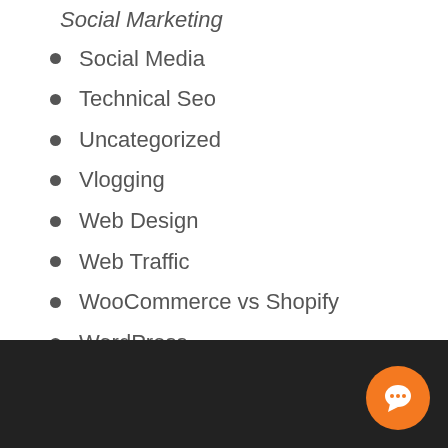Social Marketing
Social Media
Technical Seo
Uncategorized
Vlogging
Web Design
Web Traffic
WooCommerce vs Shopify
WordPress
Youtube Backlinks Strategy